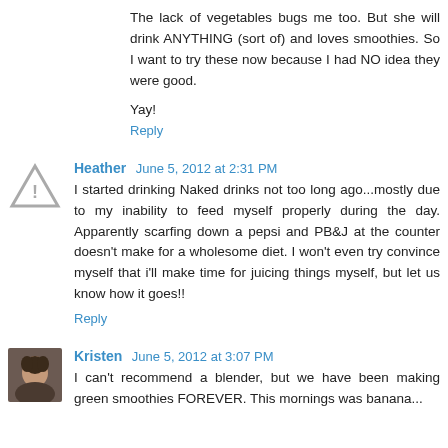The lack of vegetables bugs me too. But she will drink ANYTHING (sort of) and loves smoothies. So I want to try these now because I had NO idea they were good.
Yay!
Reply
Heather  June 5, 2012 at 2:31 PM
I started drinking Naked drinks not too long ago...mostly due to my inability to feed myself properly during the day. Apparently scarfing down a pepsi and PB&J at the counter doesn't make for a wholesome diet. I won't even try convince myself that i'll make time for juicing things myself, but let us know how it goes!!
Reply
Kristen  June 5, 2012 at 3:07 PM
I can't recommend a blender, but we have been making green smoothies FOREVER. This mornings was banana...